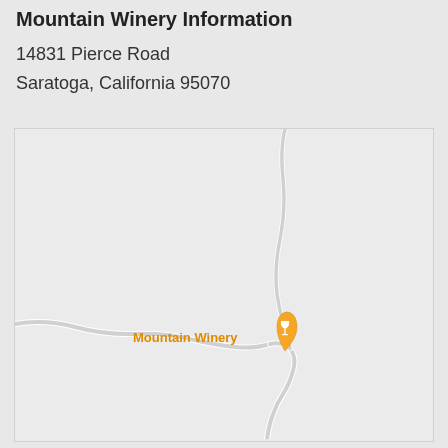Mountain Winery Information
14831 Pierce Road
Saratoga, California 95070
[Figure (map): Google Maps style map showing Mountain Winery location at 14831 Pierce Road, Saratoga, California 95070. An orange location pin with a wine glass icon marks the Mountain Winery label in orange text. Winding road paths are shown in light gray/white against a light gray map background.]